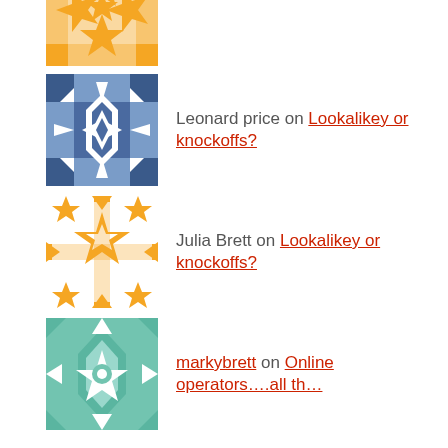[Figure (illustration): Orange/yellow geometric quilt-pattern avatar (partial, top cropped)]
Leonard price on Lookalikey or knockoffs?
Julia Brett on Lookalikey or knockoffs?
markybrett on Online operators….all th…
Archives
July 2022
June 2022
May 2022
April 2022
February 2022
January 2022
December 2021
November 2021
October 2021